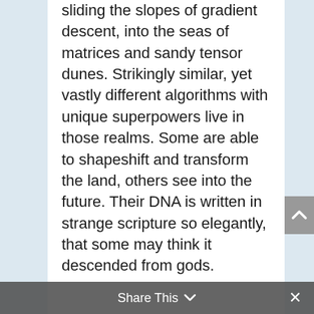sliding the slopes of gradient descent, into the seas of matrices and sandy tensor dunes. Strikingly similar, yet vastly different algorithms with unique superpowers live in those realms. Some are able to shapeshift and transform the land, others see into the future. Their DNA is written in strange scripture so elegantly, that some may think it descended from gods.
Let's have some fun in q
Most kdb+ developers write q to build tickerplants, databases or complex event-processing engines. Few use q as a data-science language. To the uninitiated, q is mostly
Share This